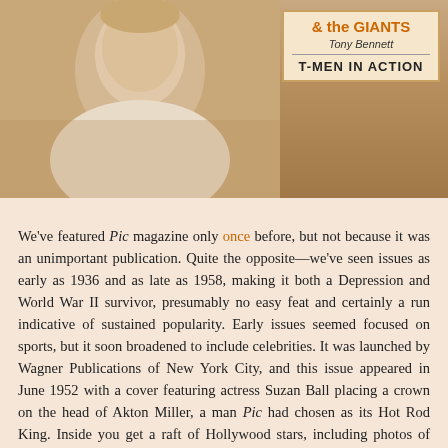[Figure (photo): Top portion showing a partial photo of a man (portrait/headshot visible on left side) and an overlay box on the right with text '& the GIANTS', 'Tony Bennett', 'T-MEN IN ACTION' on a cream/tan background]
We've featured Pic magazine only once before, but not because it was an unimportant publication. Quite the opposite—we've seen issues as early as 1936 and as late as 1958, making it both a Depression and World War II survivor, presumably no easy feat and certainly a run indicative of sustained popularity. Early issues seemed focused on sports, but it soon broadened to include celebrities. It was launched by Wagner Publications of New York City, and this issue appeared in June 1952 with a cover featuring actress Suzan Ball placing a crown on the head of Akton Miller, a man Pic had chosen as its Hot Rod King. Inside you get a raft of Hollywood stars, including photos of Yvonne De Carlo in Uruguay, Marilyn Monroe, Janet Leigh, and Joan Vohs, shots of New York Giants manager Leo Durocher and his beautiful actress wife Laraine Day, and some nice boxing pictures